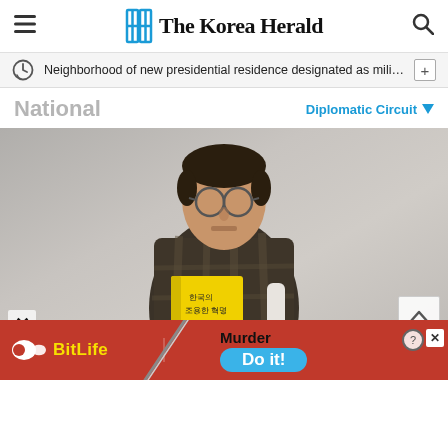The Korea Herald
Neighborhood of new presidential residence designated as milita…
National
Diplomatic Circuit
[Figure (photo): A man wearing glasses and a plaid shirt sits holding a yellow book, photographed against a grey wall background.]
[Figure (screenshot): BitLife advertisement banner with red background showing 'Murder Do it!' text and a blue button.]